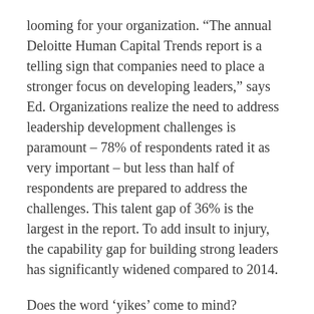looming for your organization. “The annual Deloitte Human Capital Trends report is a telling sign that companies need to place a stronger focus on developing leaders,” says Ed. Organizations realize the need to address leadership development challenges is paramount – 78% of respondents rated it as very important – but less than half of respondents are prepared to address the challenges. This talent gap of 36% is the largest in the report. To add insult to injury, the capability gap for building strong leaders has significantly widened compared to 2014.
Does the word ‘yikes’ come to mind?
“The time to respond is now,” says Ed. “There are rapid changes happening in the workforce, and companies can’t afford to sit back and hope their